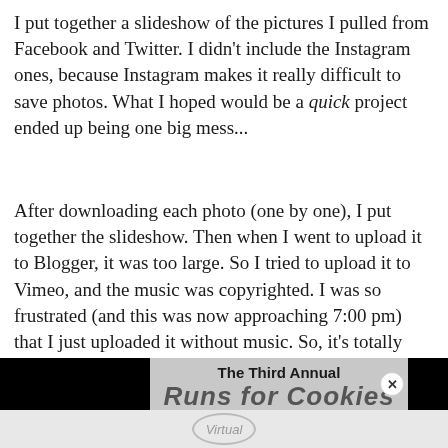I put together a slideshow of the pictures I pulled from Facebook and Twitter. I didn't include the Instagram ones, because Instagram makes it really difficult to save photos. What I hoped would be a quick project ended up being one big mess...
After downloading each photo (one by one), I put together the slideshow. Then when I went to upload it to Blogger, it was too large. So I tried to upload it to Vimeo, and the music was copyrighted. I was so frustrated (and this was now approaching 7:00 pm) that I just uploaded it without music. So, it's totally boring without the music, but if you'd like to see most of the photos here in one spot, it's worth watching. Maybe just play some upbeat music while you watch it ;)
[Figure (screenshot): Screenshot of a video titled 'The Third Annual Runs for Cookies' with a virtual run logo partially visible. Black bars on left and right sides. A close button (x) in the lower right of the overlay.]